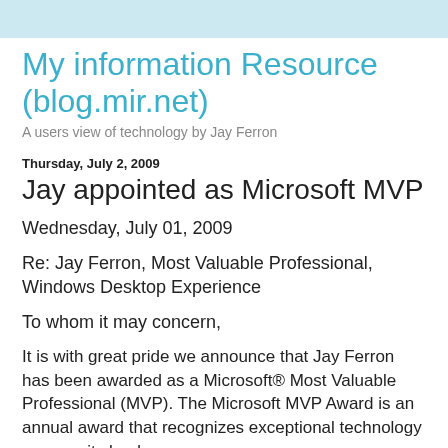My information Resource (blog.mir.net)
A users view of technology by Jay Ferron
Thursday, July 2, 2009
Jay appointed as Microsoft MVP
Wednesday, July 01, 2009
Re: Jay Ferron, Most Valuable Professional, Windows Desktop Experience
To whom it may concern,
It is with great pride we announce that Jay Ferron has been awarded as a Microsoft® Most Valuable Professional (MVP). The Microsoft MVP Award is an annual award that recognizes exceptional technology community leaders